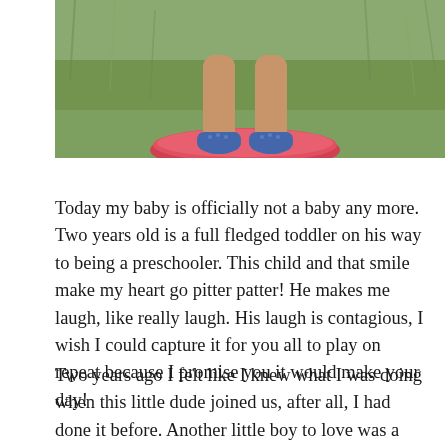[Figure (photo): Photo of a toddler's legs and feet wearing blue shoes, standing on a red circular object on green grass, cropped to show only the lower half of the child's body.]
Today my baby is officially not a baby any more. Two years old is a full fledged toddler on his way to being a preschooler. This child and that smile make my heart go pitter patter! He makes me laugh, like really laugh. His laugh is contagious, I wish I could capture it for you all to play on repeat because I promise you it would make your day!
Two years ago I felt like I knew what I was doing when this little dude joined us, after all, I had done it before. Another little boy to love was a wonderful gift but I had no idea what was in store for me when Ezra